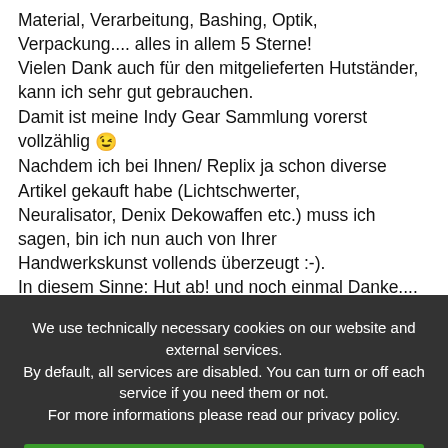Material, Verarbeitung, Bashing, Optik, Verpackung.... alles in allem 5 Sterne!
Vielen Dank auch für den mitgelieferten Hutständer, kann ich sehr gut gebrauchen.
Damit ist meine Indy Gear Sammlung vorerst vollzählig 😉
Nachdem ich bei Ihnen/ Replix ja schon diverse Artikel gekauft habe (Lichtschwerter,
Neuralisator, Denix Dekowaffen etc.) muss ich sagen, bin ich nun auch von Ihrer
Handwerkskunst vollends überzeugt :-).
In diesem Sinne: Hut ab! und noch einmal Danke....
Dennis P.
We use technically necessary cookies on our website and external services.
By default, all services are disabled. You can turn or off each service if you need them or not.
For more informations please read our privacy policy.